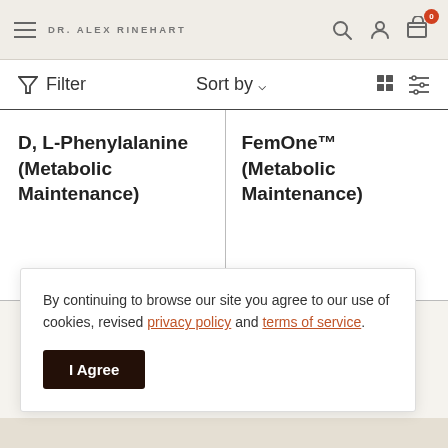DR. ALEX RINEHART
Filter  Sort by  ▾
D, L-Phenylalanine (Metabolic Maintenance)
FemOne™ (Metabolic Maintenance)
By continuing to browse our site you agree to our use of cookies, revised privacy policy and terms of service.
I Agree